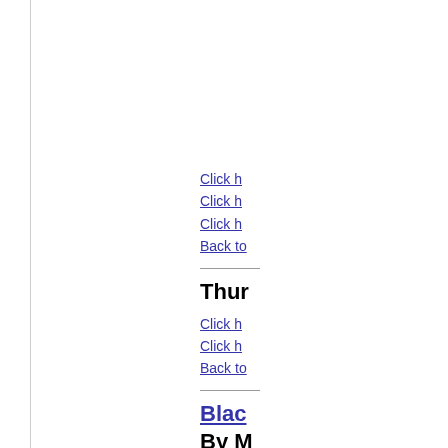Click h
Click h
Click h
Back to
Thur
Click h
Click h
Back to
Blac
By M
Join M
Black